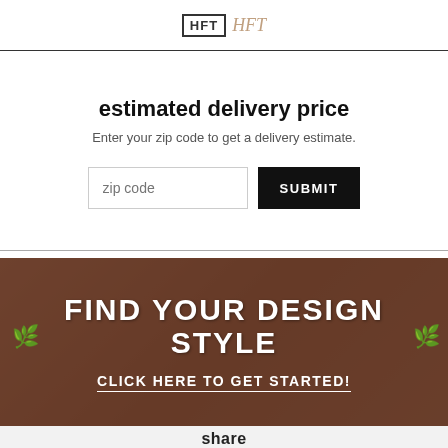[Figure (logo): Logo with box and script text representing a furniture or home decor brand]
estimated delivery price
Enter your zip code to get a delivery estimate.
[Figure (infographic): Zip code input field and SUBMIT button for delivery estimate form]
[Figure (infographic): Dark red/brown banner with text: FIND YOUR DESIGN STYLE and CLICK HERE TO GET STARTED! with leaf decorations]
share
[Figure (infographic): Share icons: Facebook (blue), Twitter (light blue), Pinterest (red), another red circle icon]